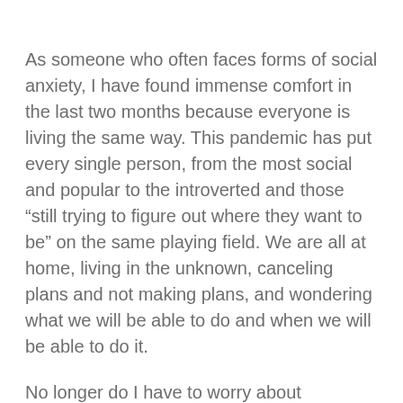As someone who often faces forms of social anxiety, I have found immense comfort in the last two months because everyone is living the same way. This pandemic has put every single person, from the most social and popular to the introverted and those “still trying to figure out where they want to be” on the same playing field. We are all at home, living in the unknown, canceling plans and not making plans, and wondering what we will be able to do and when we will be able to do it.
No longer do I have to worry about everyone else being out and having fun with their friends and me being on the couch because I wasn’t invited out or I am feeling guilty about saying “no.” No longer do I have to think about not having things to look forward to and summer plans because no one knows